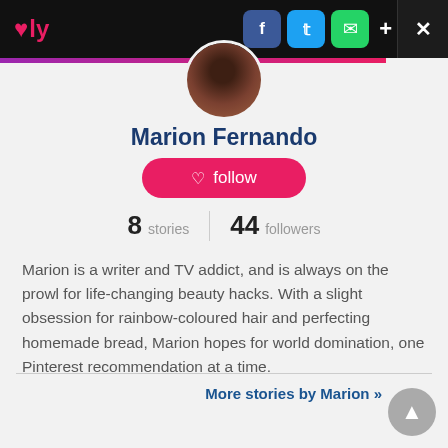♥ly | f tw ✉ + ×
[Figure (photo): Circular profile photo of Marion Fernando, partially cropped at top]
Marion Fernando
follow
8 stories  |  44 followers
Marion is a writer and TV addict, and is always on the prowl for life-changing beauty hacks. With a slight obsession for rainbow-coloured hair and perfecting homemade bread, Marion hopes for world domination, one Pinterest recommendation at a time.
More stories by Marion »